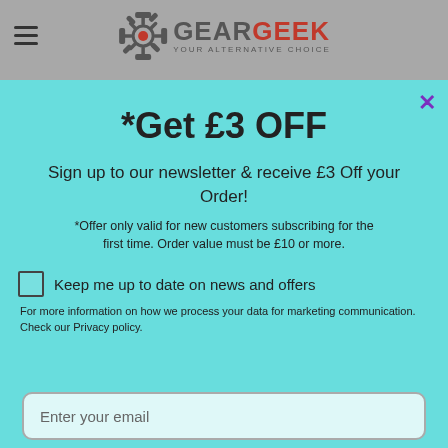[Figure (logo): GearGeek logo with gear icon, red and grey text, tagline YOUR ALTERNATIVE CHOICE]
*Get £3 OFF
Sign up to our newsletter & receive £3 Off your Order!
*Offer only valid for new customers subscribing for the first time. Order value must be £10 or more.
Keep me up to date on news and offers
For more information on how we process your data for marketing communication. Check our Privacy policy.
Enter your email